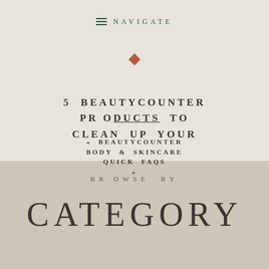NAVIGATE
[Figure (illustration): Small terracotta/rust colored diamond shape decorative element]
5 BEAUTYCOUNTER PRODUCTS TO CLEAN UP YOUR
« BEAUTYCOUNTER BODY & SKINCARE QUICK FAQS »
BROWSE BY
CATEGORY